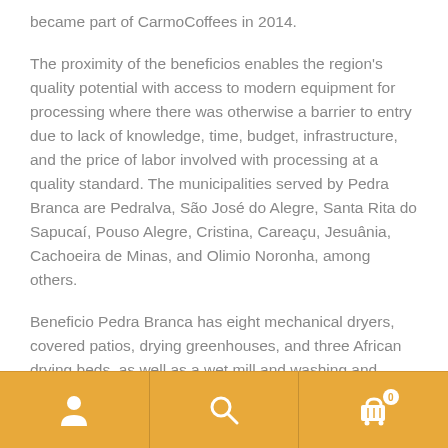became part of CarmoCoffees in 2014.
The proximity of the beneficios enables the region's quality potential with access to modern equipment for processing where there was otherwise a barrier to entry due to lack of knowledge, time, budget, infrastructure, and the price of labor involved with processing at a quality standard. The municipalities served by Pedra Branca are Pedralva, São José do Alegre, Santa Rita do Sapucaí, Pouso Alegre, Cristina, Careaçu, Jesuânia, Cachoeira de Minas, and Olimio Noronha, among others.
Beneficio Pedra Branca has eight mechanical dryers, covered patios, drying greenhouses, and three African drying beds, as well as a wet mill and washing and sorting machines. Pedra Branca serves about 600
[Figure (other): Bottom navigation bar with three icon buttons: person/account icon, search icon, and shopping cart icon with badge showing 0]